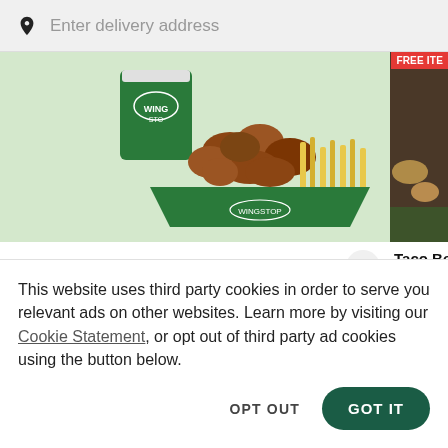Enter delivery address
[Figure (photo): Wingstop food photo showing green cup, chicken wings/nuggets and fries in green branded tray]
Wingstop (16902 HARVARD AVE)  4.1
$5.49 Delivery Fee • 7.8 mi • 75–90 min
[Figure (photo): Taco Bell partial image with FREE ITEM badge]
Taco Be
$4.49 D
This website uses third party cookies in order to serve you relevant ads on other websites. Learn more by visiting our Cookie Statement, or opt out of third party ad cookies using the button below.
OPT OUT
GOT IT